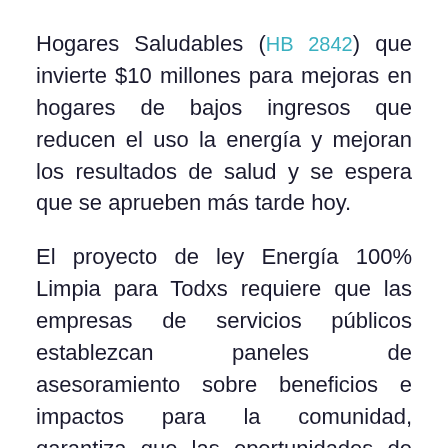Hogares Saludables (HB 2842) que invierte $10 millones para mejoras en hogares de bajos ingresos que reducen el uso la energía y mejoran los resultados de salud y se espera que se aprueben más tarde hoy.
El proyecto de ley Energía 100% Limpia para Todxs requiere que las empresas de servicios públicos establezcan paneles de asesoramiento sobre beneficios e impactos para la comunidad, garantiza que las oportunidades de capacitación laboral en energía limpia se maximicen para las comunidades de color,